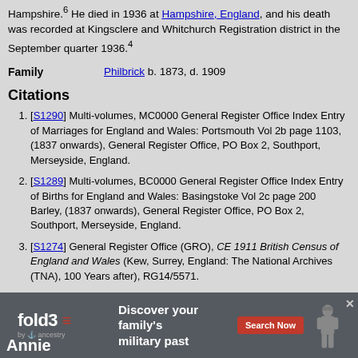Hampshire. He died in 1936 at Hampshire, England, and his death was recorded at Kingsclere and Whitchurch Registration district in the September quarter 1936.4
Family  Agnes Charlotte Philbrick b. 1873, d. 1909
Citations
[S1290] Multi-volumes, MC0000 General Register Office Index Entry of Marriages for England and Wales: Portsmouth Vol 2b page 1103, (1837 onwards), General Register Office, PO Box 2, Southport, Merseyside, England.
[S1289] Multi-volumes, BC0000 General Register Office Index Entry of Births for England and Wales: Basingstoke Vol 2c page 200 Barley, (1837 onwards), General Register Office, PO Box 2, Southport, Merseyside, England.
[S1274] General Register Office (GRO), CE 1911 British Census of England and Wales (Kew, Surrey, England: The National Archives (TNA), 100 Years after), RG14/5571.
[S1291] Multi-volumes, DC0000 General Register Office Index Entry of Deaths for England and Wales: Kingsclere and Whitchurch Vol 2c page 258, (1837 onwards), General Register Office, PO Box 2, Southport, Merseyside, England.
[Figure (infographic): Fold3 by Ancestry advertisement banner. Text: Discover your family's military past. Search Now button. Soldier silhouette image on right.]